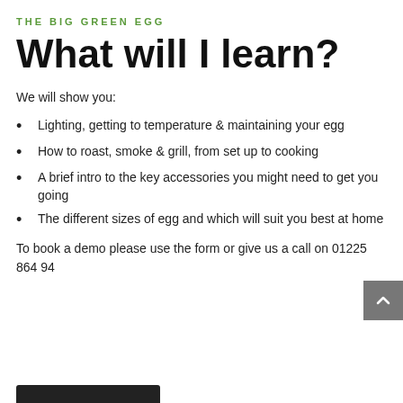THE BIG GREEN EGG
What will I learn?
We will show you:
Lighting, getting to temperature & maintaining your egg
How to roast, smoke & grill, from set up to cooking
A brief intro to the key accessories you might need to get you going
The different sizes of egg and which will suit you best at home
To book a demo please use the form or give us a call on 01225 864 94